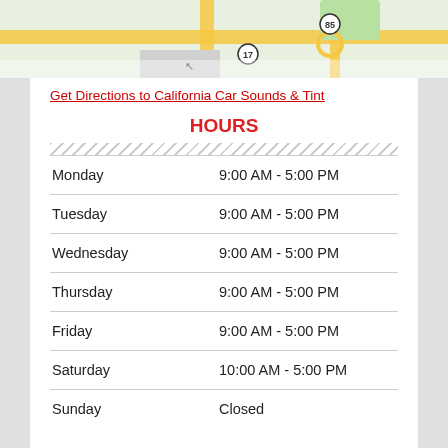[Figure (map): Street map showing California Car Sounds & Tint location with route 17, 85 marked]
Get Directions to California Car Sounds & Tint
HOURS
| Monday | 9:00 AM - 5:00 PM |
| Tuesday | 9:00 AM - 5:00 PM |
| Wednesday | 9:00 AM - 5:00 PM |
| Thursday | 9:00 AM - 5:00 PM |
| Friday | 9:00 AM - 5:00 PM |
| Saturday | 10:00 AM - 5:00 PM |
| Sunday | Closed |